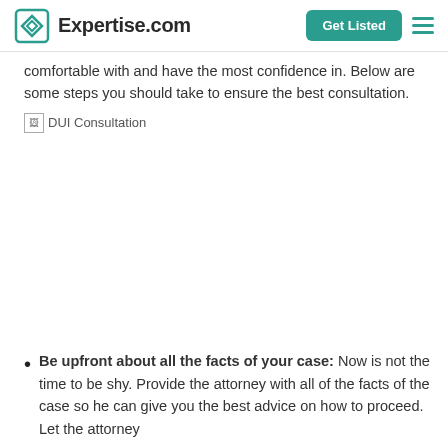Expertise.com | Get Listed
comfortable with and have the most confidence in. Below are some steps you should take to ensure the best consultation.
[Figure (photo): DUI Consultation image (broken/not loaded)]
Be upfront about all the facts of your case: Now is not the time to be shy. Provide the attorney with all of the facts of the case so he can give you the best advice on how to proceed. Let the attorney